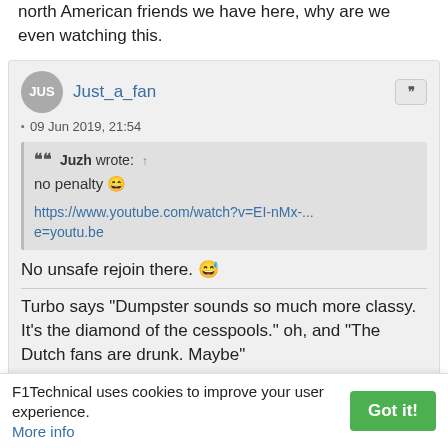north American friends we have here, why are we even watching this.
Just_a_fan — 09 Jun 2019, 21:54
Juzh wrote: † no penalty 😄 https://www.youtube.com/watch?v=EI-nMx-...e=youtu.be
No unsafe rejoin there. 😅
Turbo says "Dumpster sounds so much more classy. It's the diamond of the cesspools." oh, and "The Dutch fans are drunk. Maybe"
F1Technical uses cookies to improve your user experience. More info   Got it!